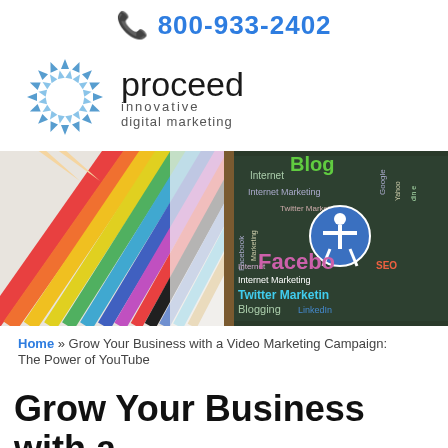📞 800-933-2402
[Figure (logo): Proceed Innovative Digital Marketing logo with blue snowflake/starburst icon and company name text]
[Figure (photo): Hero banner image split in two halves: left side shows colorful pencils fanned out, right side shows a dark chalkboard with digital marketing terms like Facebook, Internet Marketing, Twitter Marketing, Blogging, LinkedIn, SEO, Blog, Internet, Google, Yahoo in various colors with an accessibility icon overlay]
Home » Grow Your Business with a Video Marketing Campaign: The Power of YouTube
Grow Your Business with a